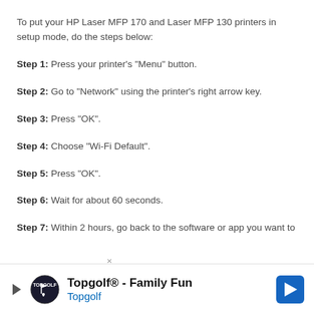To put your HP Laser MFP 170 and Laser MFP 130 printers in setup mode, do the steps below:
Step 1: Press your printer’s “Menu” button.
Step 2: Go to “Network” using the printer’s right arrow key.
Step 3: Press “OK”.
Step 4: Choose “Wi-Fi Default”.
Step 5: Press “OK”.
Step 6: Wait for about 60 seconds.
Step 7: Within 2 hours, go back to the software or app you want to
[Figure (infographic): Advertisement banner for Topgolf: 'Topgolf® - Family Fun' with Topgolf logo and a blue navigation arrow icon on the right.]